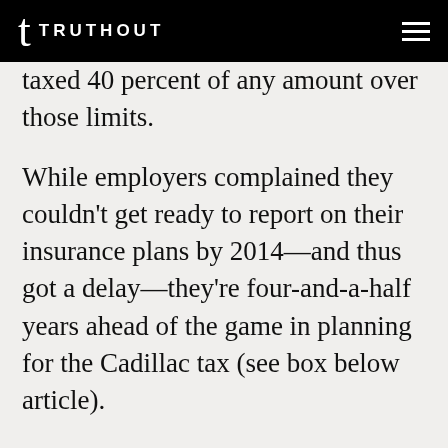TRUTHOUT
taxed 40 percent of any amount over those limits.
While employers complained they couldn’t get ready to report on their insurance plans by 2014—and thus got a delay—they’re four-and-a-half years ahead of the game in planning for the Cadillac tax (see box below article).
Their solution is to dump more costs onto workers by offering lower-premium, higher-deductible plans. More than a third of covered U.S. workers are now in plans with deductibles